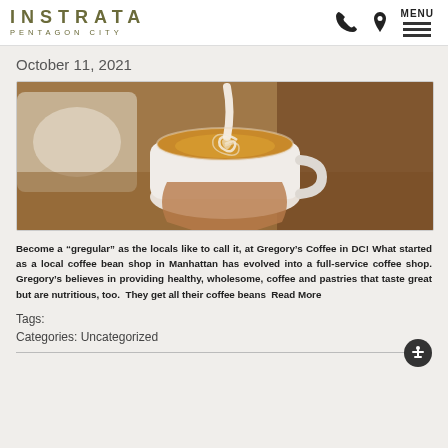INSTRATA PENTAGON CITY
October 11, 2021
[Figure (photo): A hand holding a white ceramic cup of latte with latte art (milk poured in a swirl/heart pattern), photographed close-up with blurred background showing a white plate and wooden surface.]
Become a “gregular” as the locals like to call it, at Gregory’s Coffee in DC! What started as a local coffee bean shop in Manhattan has evolved into a full-service coffee shop. Gregory’s believes in providing healthy, wholesome, coffee and pastries that taste great but are nutritious, too.  They get all their coffee beans  Read More
Tags:
Categories: Uncategorized